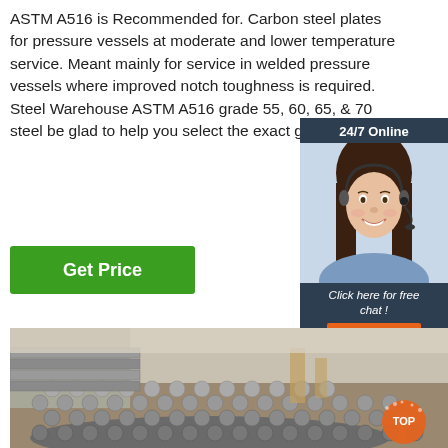ASTM A516 is Recommended for. Carbon steel plates for pressure vessels at moderate and lower temperature service. Meant mainly for service in welded pressure vessels where improved notch toughness is required. Steel Warehouse ASTM A516 grade 55, 60, 65, & 70 steel be glad to help you select the exact grade needs.
Get Price
[Figure (other): 24/7 Online chat widget showing a female customer service agent with headset, dark background, with 'Click here for free chat!' text and orange QUOTATION button]
[Figure (photo): Photo of steel rebar/rod bundles stacked in a warehouse or outdoor yard, with a construction structure visible in the background, and a TOP badge overlay in orange]